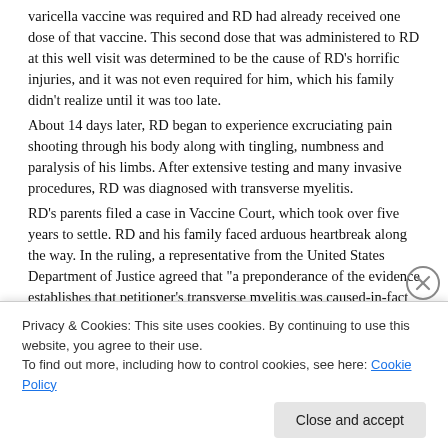varicella vaccine was required and RD had already received one dose of that vaccine. This second dose that was administered to RD at this well visit was determined to be the cause of RD's horrific injuries, and it was not even required for him, which his family didn't realize until it was too late. About 14 days later, RD began to experience excruciating pain shooting through his body along with tingling, numbness and paralysis of his limbs. After extensive testing and many invasive procedures, RD was diagnosed with transverse myelitis. RD's parents filed a case in Vaccine Court, which took over five years to settle. RD and his family faced arduous heartbreak along the way. In the ruling, a representative from the United States Department of Justice agreed that "a preponderance of the evidence establishes that petitioner's transverse myelitis was caused-in-fact by the administration of his August 12, 2009 varicella vaccine." [1] RD's lawyer, Patricia Finn, stated that: "The injuries that RD suffered from this vaccine are severe and lifelong.
Privacy & Cookies: This site uses cookies. By continuing to use this website, you agree to their use. To find out more, including how to control cookies, see here: Cookie Policy
Close and accept